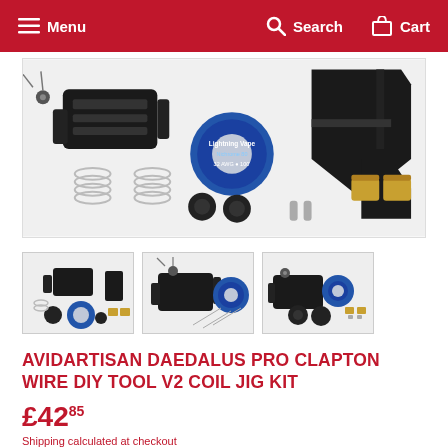Menu  Search  Cart
[Figure (photo): Product photo of Avidartisan Daedalus Pro Clapton Wire DIY Tool V2 Coil Jig Kit components laid out on white background including black device, wire spool, springs, small parts, and brass connectors]
[Figure (photo): Thumbnail 1: Full kit overview from above]
[Figure (photo): Thumbnail 2: Close-up of the main device and wire]
[Figure (photo): Thumbnail 3: Alternate angle view of kit]
AVIDARTISAN DAEDALUS PRO CLAPTON WIRE DIY TOOL V2 COIL JIG KIT
£42.85
Shipping calculated at checkout